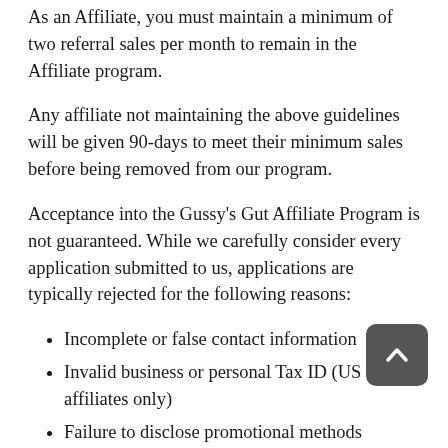As an Affiliate, you must maintain a minimum of two referral sales per month to remain in the Affiliate program.
Any affiliate not maintaining the above guidelines will be given 90-days to meet their minimum sales before being removed from our program.
Acceptance into the Gussy's Gut Affiliate Program is not guaranteed. While we carefully consider every application submitted to us, applications are typically rejected for the following reasons:
Incomplete or false contact information
Invalid business or personal Tax ID (US affiliates only)
Failure to disclose promotional methods
Unacceptable or misaligned website content